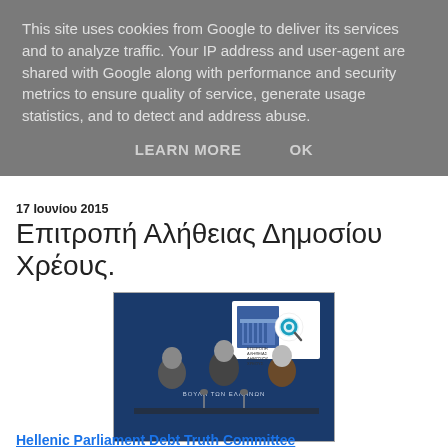This site uses cookies from Google to deliver its services and to analyze traffic. Your IP address and user-agent are shared with Google along with performance and security metrics to ensure quality of service, generate usage statistics, and to detect and address abuse.
LEARN MORE   OK
17 Ιουνίου 2015
Επιτροπή Αλήθειας Δημοσίου Χρέους.
[Figure (photo): Press conference photo showing three people seated at a table in front of a blue background with the text ΒΟΥΛΗ ΤΩΝ ΕΛΛΗΝΩΝ. A white inset box in the upper right shows a logo with an eye/magnifier icon and Greek text ΕΠΙΤΡΟΠΗ ΑΛΗΘΕΙΑΣ ΔΗΜΟΣΙΟΥ ΧΡΕΟΥΣ.]
Hellenic Parliament Debt Truth Committee